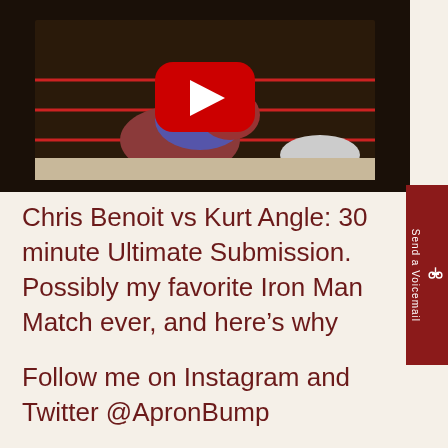[Figure (screenshot): YouTube video thumbnail showing wrestlers Chris Benoit and Kurt Angle in the ring, with a red YouTube play button overlay in the center]
Chris Benoit vs Kurt Angle: 30 minute Ultimate Submission. Possibly my favorite Iron Man Match ever, and here's why
Follow me on Instagram and Twitter @ApronBump
Subscribe to this channel or any podcast platform, for my weekly show "The Apron